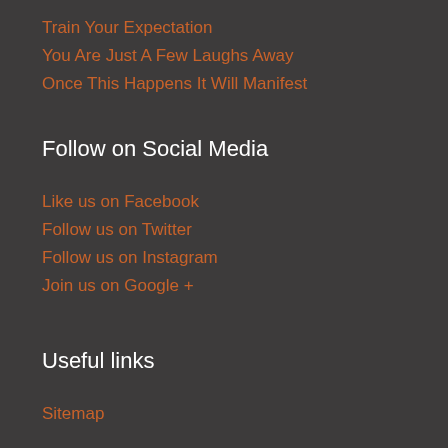Train Your Expectation
You Are Just A Few Laughs Away
Once This Happens It Will Manifest
Follow on Social Media
Like us on Facebook
Follow us on Twitter
Follow us on Instagram
Join us on Google +
Useful links
Sitemap